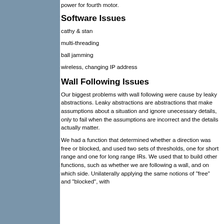power for fourth motor.
Software Issues
cathy & stan
multi-threading
ball jamming
wireless, changing IP address
Wall Following Issues
Our biggest problems with wall following were cause by leaky abstractions. Leaky abstractions are abstractions that make assumptions about a situation and ignore unecessary details, only to fail when the assumptions are incorrect and the details actually matter.
We had a function that determined whether a direction was free or blocked, and used two sets of thresholds, one for short range and one for long range IRs. We used that to build other functions, such as whether we are following a wall, and on which side. Unilaterally applying the same notions of "free" and "blocked", with